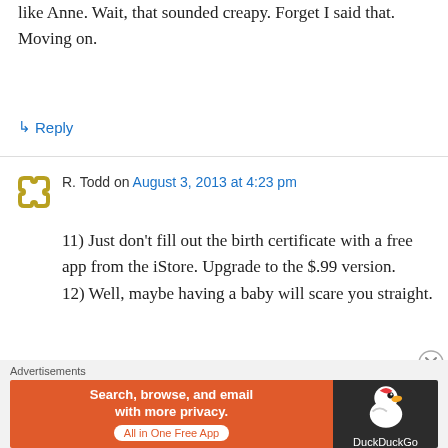like Anne. Wait, that sounded creapy. Forget I said that. Moving on.
↳ Reply
R. Todd on August 3, 2013 at 4:23 pm
11) Just don't fill out the birth certificate with a free app from the iStore. Upgrade to the $.99 version.
12) Well, maybe having a baby will scare you straight.
↳ Reply
[Figure (other): DuckDuckGo advertisement banner: orange left side with text 'Search, browse, and email with more privacy. All in One Free App', dark right side with DuckDuckGo duck logo]